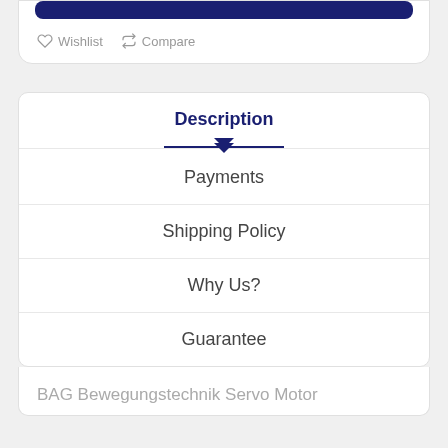[Figure (screenshot): Dark navy blue bar at top of product card]
Wishlist  Compare
Description
Payments
Shipping Policy
Why Us?
Guarantee
BAG Bewegungstechnik Servo Motor